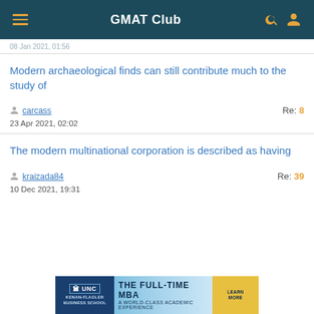GMAT Club
08 Jan 2021, 01:56
Modern archaeological finds can still contribute much to the study of
carcass   Re: 8   23 Apr 2021, 02:02
The modern multinational corporation is described as having
kraizada84   Re: 39   10 Dec 2021, 19:31
[Figure (other): UNC Kenan-Flagler Business School advertisement banner - THE FULL-TIME MBA A WORLD-CLASS ACADEMIC EXPERIENCE with LEARN MORE button]